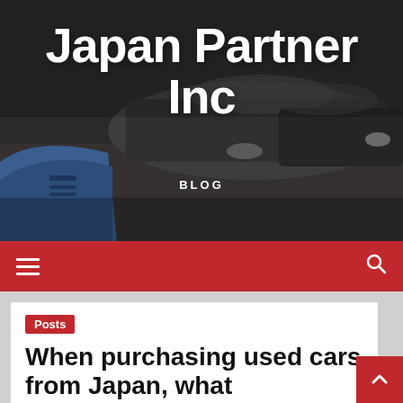[Figure (photo): Dark-colored cars parked in a lot, viewed from slightly above and to the front, with a blue car hood visible in the lower left. Photo serves as hero background image.]
Japan Partner Inc
BLOG
Navigation bar with hamburger menu and search icon
Posts
When purchasing used cars from Japan, what